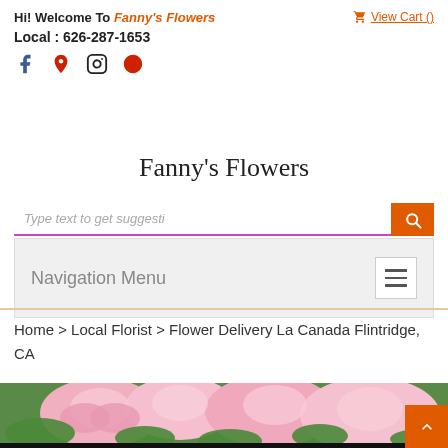Hi! Welcome To Fanny's Flowers   View Cart ()   Local : 626-287-1653
Fanny's Flowers
Type text to get suggestions [search button]
Navigation Menu
Home > Local Florist > Flower Delivery La Canada Flintridge, CA
[Figure (photo): Pink roses with green leaves, close-up floral arrangement photo]